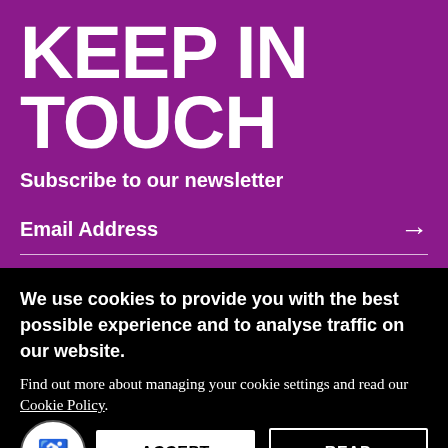KEEP IN TOUCH
Subscribe to our newsletter
Email Address →
Please add me to the Serpentine Galleries' Newsletter
We use cookies to provide you with the best possible experience and to analyse traffic on our website.
Find out more about managing your cookie settings and read our Cookie Policy.
ACCEPT COOKIES
READ MORE